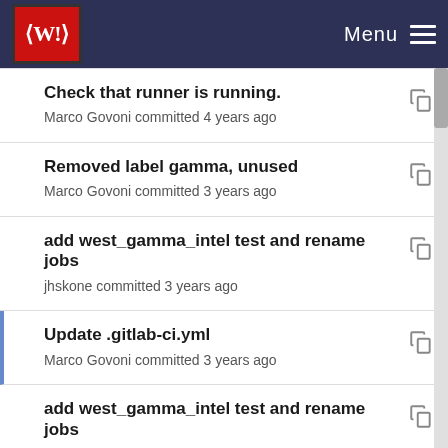Menu
Check that runner is running.
Marco Govoni committed 4 years ago
Removed label gamma, unused
Marco Govoni committed 3 years ago
add west_gamma_intel test and rename jobs
jhskone committed 3 years ago
Update .gitlab-ci.yml
Marco Govoni committed 3 years ago
add west_gamma_intel test and rename jobs
jhskone committed 3 years ago